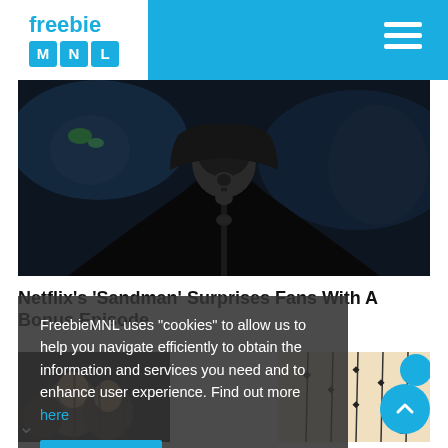freebie MNL
[Figure (photo): Dark fantasy scene showing a cloaked figure with an ornate helmet/mask, from Netflix's The Sandman series]
Netflix's 'Sandman' Surprises Fans With A Bonus Episode
FreebieMNL uses "cookies" to allow us to help you navigate efficiently to obtain the information and services you need and to enhance user experience. Find out more here
[Figure (photo): Selfie photo of people smiling at camera]
[Figure (photo): Interior photo with hanging decorative lights on a beige background]